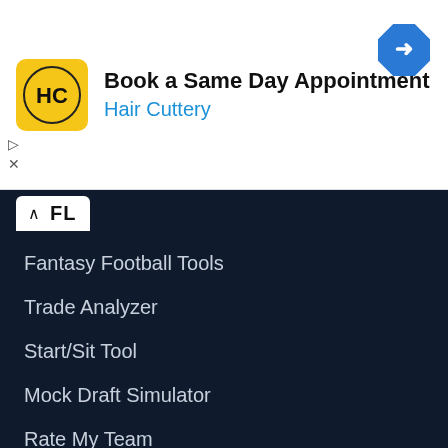[Figure (infographic): Hair Cuttery advertisement banner with yellow HC logo, text 'Book a Same Day Appointment' and 'Hair Cuttery' in blue, and a blue diamond navigation icon on the right.]
FL
Fantasy Football Tools
Trade Analyzer
Start/Sit Tool
Mock Draft Simulator
Rate My Team
Fantasy Football Assistant
Fantasy Football Draft Assistant
Waiver Wire
Injury News
Fantasy Football Assistant
Target/Touch Leaders
Average Draft Position